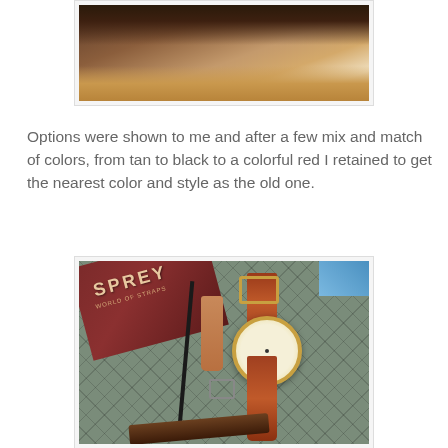[Figure (photo): Top portion of a photo showing a watch display case with wooden frame, partially visible]
Options were shown to me and after a few mix and match of colors, from tan to black to a colorful red I retained to get the nearest color and style as the old one.
[Figure (photo): Photo of a Sprey watch strap brand packaging (dark red box with SPREY text), a black strap, a tan leather strap piece, a small metal buckle, and a gold watch with brown leather strap, laid on a grey quilted mat]